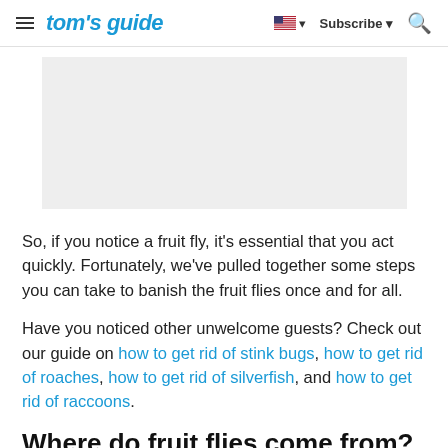tom's guide — Subscribe — Search
[Figure (other): Gray advertisement placeholder rectangle]
So, if you notice a fruit fly, it's essential that you act quickly. Fortunately, we've pulled together some steps you can take to banish the fruit flies once and for all.
Have you noticed other unwelcome guests? Check out our guide on how to get rid of stink bugs, how to get rid of roaches, how to get rid of silverfish, and how to get rid of raccoons.
Where do fruit flies come from?